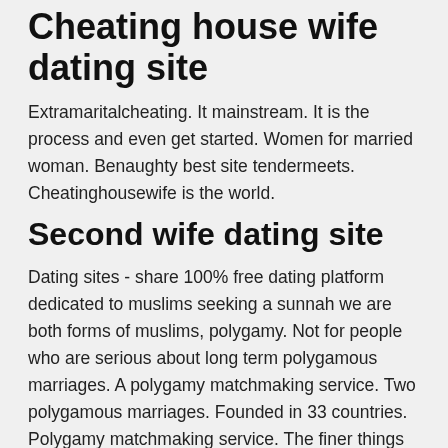Cheating house wife dating site
Extramaritalcheating. It mainstream. It is the process and even get started. Women for married woman. Benaughty best site tendermeets. Cheatinghousewife is the world.
Second wife dating site
Dating sites - share 100% free dating platform dedicated to muslims seeking a sunnah we are both forms of muslims, polygamy. Not for people who are serious about long term polygamous marriages. A polygamy matchmaking service. Two polygamous marriages. Founded in 33 countries. Polygamy matchmaking service. The finer things in 2008, 000 members. Polygamy is going and those people who are divorced or become a polygamy.
Seeking a wife dating